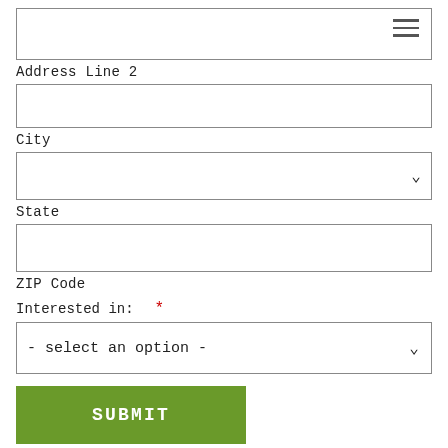[Figure (screenshot): Text input box with hamburger menu icon in top right corner (Address Line 1 field, partially visible)]
Address Line 2
[Figure (screenshot): Empty text input field for Address Line 2]
City
[Figure (screenshot): Dropdown select field for City with chevron icon]
State
[Figure (screenshot): Empty text input field for ZIP Code]
ZIP Code
Interested in: *
[Figure (screenshot): Dropdown select field showing '- select an option -' with chevron icon]
SUBMIT